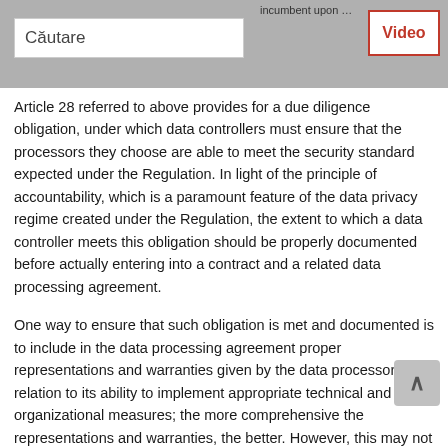incumbent upon data cont... Căutare [search box] Video [button]
Article 28 referred to above provides for a due diligence obligation, under which data controllers must ensure that the processors they choose are able to meet the security standard expected under the Regulation. In light of the principle of accountability, which is a paramount feature of the data privacy regime created under the Regulation, the extent to which a data controller meets this obligation should be properly documented before actually entering into a contract and a related data processing agreement.
One way to ensure that such obligation is met and documented is to include in the data processing agreement proper representations and warranties given by the data processor in relation to its ability to implement appropriate technical and organizational measures; the more comprehensive the representations and warranties, the better. However, this may not be (considered) enough (and, in practice, may result in breached representations and warranties), but at any moment that the data processor...